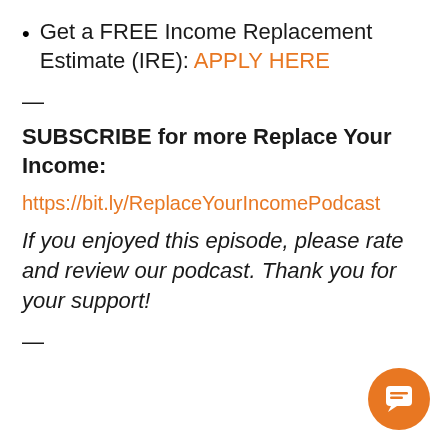Get a FREE Income Replacement Estimate (IRE): APPLY HERE
—
SUBSCRIBE for more Replace Your Income:
https://bit.ly/ReplaceYourIncomePodcast
If you enjoyed this episode, please rate and review our podcast. Thank you for your support!
—